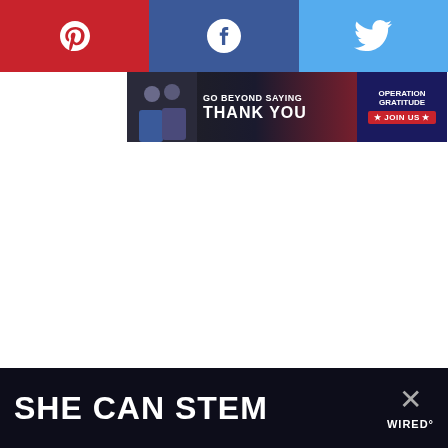[Figure (infographic): Social sharing bar with Pinterest (red), Facebook (dark blue), and Twitter (light blue) buttons with white icons]
[Figure (infographic): Operation Gratitude advertisement banner: 'GO BEYOND SAYING THANK YOU' with JOIN US button and patriotic imagery]
[Figure (infographic): Floating heart (favorite) button and share button on right side]
[Figure (infographic): What's Next card: 'Walnut Vanilla Whipped...' with food image thumbnail]
[Figure (infographic): Bottom dark banner: 'SHE CAN STEM' text with X close and Wired logo]